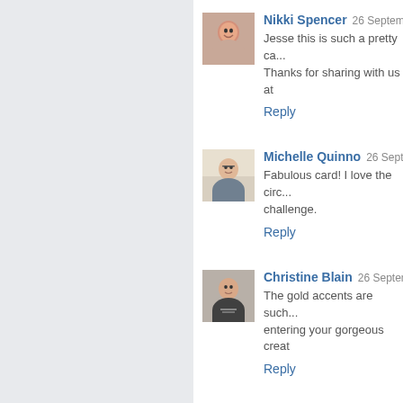[Figure (photo): Avatar photo of Nikki Spencer, a woman smiling]
Nikki Spencer  26 September
Jesse this is such a pretty ca... Thanks for sharing with us at
Reply
[Figure (photo): Avatar photo of Michelle Quinno, a woman with glasses]
Michelle Quinno  26 Septem
Fabulous card! I love the circ... challenge.
Reply
[Figure (photo): Avatar photo of Christine Blain, a woman]
Christine Blain  26 Septemb
The gold accents are such... entering your gorgeous creat
Reply
[Figure (photo): Avatar placeholder for Unknown commenter, orange/tan circle]
Unknown  26 September 20...